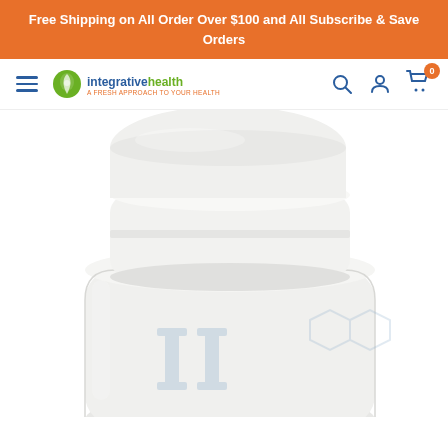Free Shipping on All Order Over $100 and All Subscribe & Save Orders
[Figure (screenshot): Navigation bar with hamburger menu, Integrative Health logo, search icon, user icon, and cart icon with 0 badge]
[Figure (photo): Close-up of a white supplement bottle with white cap, showing embossed chemical/molecular structure graphics on the bottle body]